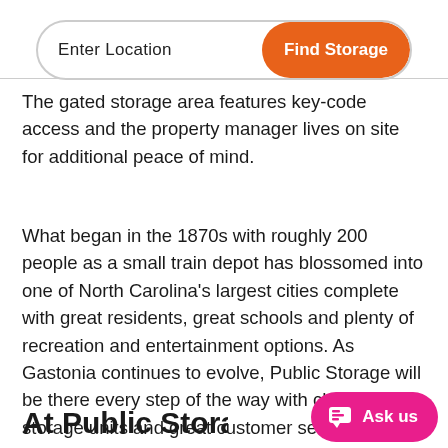[Figure (screenshot): Search bar with 'Enter Location' input and orange 'Find Storage' button]
The gated storage area features key-code access and the property manager lives on site for additional peace of mind.
What began in the 1870s with roughly 200 people as a small train depot has blossomed into one of North Carolina's largest cities complete with great residents, great schools and plenty of recreation and entertainment options. As Gastonia continues to evolve, Public Storage will be there every step of the way with cheap storage units and great customer service to help handle the community's storage space needs.
At Public Storage, You'll Alw...